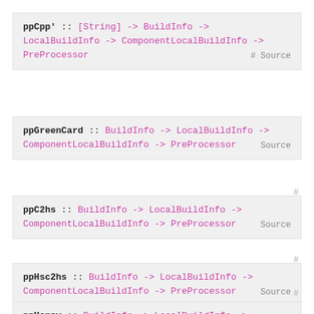ppCpp' :: [String] -> BuildInfo -> LocalBuildInfo -> ComponentLocalBuildInfo -> PreProcessor  # Source
ppGreenCard :: BuildInfo -> LocalBuildInfo -> ComponentLocalBuildInfo -> PreProcessor  Source
#
ppC2hs :: BuildInfo -> LocalBuildInfo -> ComponentLocalBuildInfo -> PreProcessor  Source
#
ppHsc2hs :: BuildInfo -> LocalBuildInfo -> ComponentLocalBuildInfo -> PreProcessor  Source
#
ppHappy :: BuildInfo -> LocalBuildInfo ->